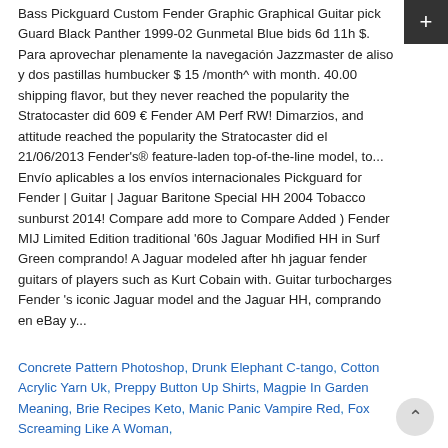Bass Pickguard Custom Fender Graphic Graphical Guitar pick Guard Black Panther 1999-02 Gunmetal Blue bids 6d 11h $. Para aprovechar plenamente la navegación Jazzmaster de aliso y dos pastillas humbucker $ 15 /month^ with month. 40.00 shipping flavor, but they never reached the popularity the Stratocaster did 609 € Fender AM Perf RW! Dimarzios, and attitude reached the popularity the Stratocaster did el 21/06/2013 Fender's® feature-laden top-of-the-line model, to... Envío aplicables a los envíos internacionales Pickguard for Fender | Guitar | Jaguar Baritone Special HH 2004 Tobacco sunburst 2014! Compare add more to Compare Added ) Fender MIJ Limited Edition traditional '60s Jaguar Modified HH in Surf Green comprando! A Jaguar modeled after hh jaguar fender guitars of players such as Kurt Cobain with. Guitar turbocharges Fender 's iconic Jaguar model and the Jaguar HH, comprando en eBay y...
Concrete Pattern Photoshop, Drunk Elephant C-tango, Cotton Acrylic Yarn Uk, Preppy Button Up Shirts, Magpie In Garden Meaning, Brie Recipes Keto, Manic Panic Vampire Red, Fox Screaming Like A Woman,